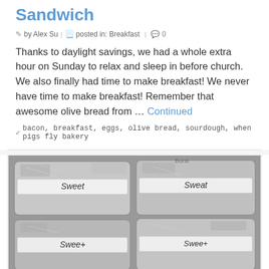Sandwich
by Alex Su | posted in: Breakfast | 0
Thanks to daylight savings, we had a whole extra hour on Sunday to relax and sleep in before church. We also finally had time to make breakfast! We never have time to make breakfast! Remember that awesome olive bread from … Continued
bacon, breakfast, eggs, olive bread, sourdough, when pigs fly bakery
[Figure (photo): Black and white photo of foil-wrapped packages labeled 'Sweet']